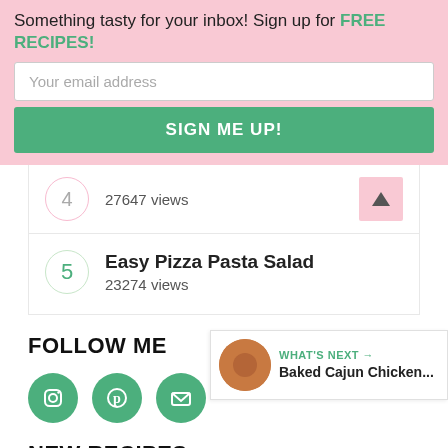Something tasty for your inbox! Sign up for FREE RECIPES!
Your email address
SIGN ME UP!
27647 views
Easy Pizza Pasta Salad
23274 views
FOLLOW ME
[Figure (infographic): Three green circular social media icons: Instagram, Pinterest, and Email/envelope]
[Figure (infographic): What's Next widget showing Baked Cajun Chicken... with a food photo thumbnail]
NEW RECIPES